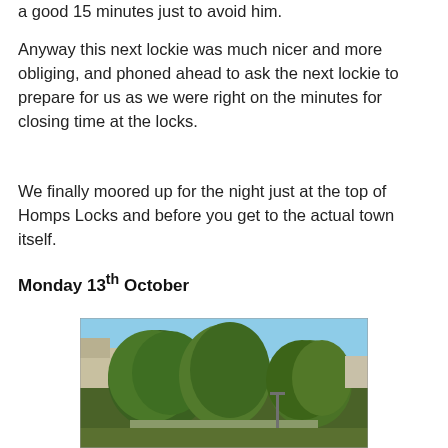a good 15 minutes just to avoid him.
Anyway this next lockie was much nicer and more obliging, and phoned ahead to ask the next lockie to prepare for us as we were right on the minutes for closing time at the locks.
We finally moored up for the night just at the top of Homps Locks and before you get to the actual town itself.
Monday 13th October
[Figure (photo): Outdoor photograph showing large leafy green trees with a blue sky background, likely near a waterway or town area.]